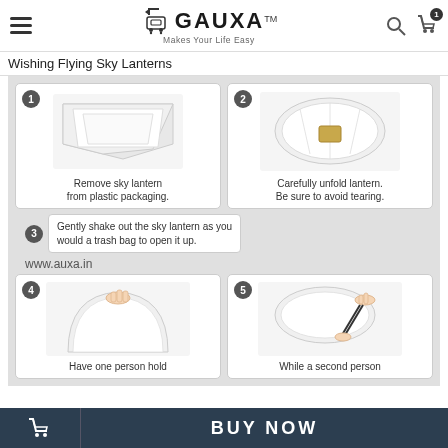GAUXA - Makes Your Life Easy
Wishing Flying Sky Lanterns
[Figure (infographic): Step-by-step instructions for using a sky lantern. Step 1: Remove sky lantern from plastic packaging (folded white lantern shown). Step 2: Carefully unfold lantern. Be sure to avoid tearing (oval unfolded lantern shown). Step 3: Gently shake out the sky lantern as you would a trash bag to open it up. Step 4: Have one person hold (person holding open inflated white lantern). Step 5: While a second person (person holding lantern with stick/lighter).]
www.auxa.in
Remove sky lantern from plastic packaging.
Carefully unfold lantern. Be sure to avoid tearing.
Gently shake out the sky lantern as you would a trash bag to open it up.
Have one person hold
While a second person
BUY NOW